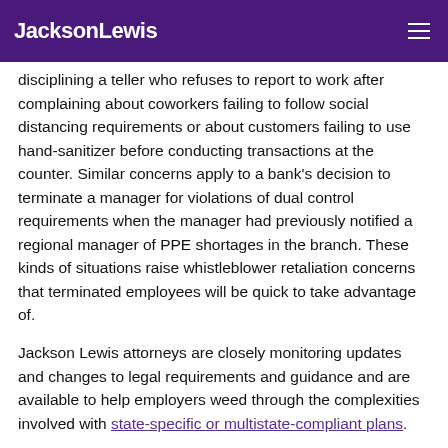JacksonLewis
disciplining a teller who refuses to report to work after complaining about coworkers failing to follow social distancing requirements or about customers failing to use hand-sanitizer before conducting transactions at the counter. Similar concerns apply to a bank's decision to terminate a manager for violations of dual control requirements when the manager had previously notified a regional manager of PPE shortages in the branch. These kinds of situations raise whistleblower retaliation concerns that terminated employees will be quick to take advantage of.
Jackson Lewis attorneys are closely monitoring updates and changes to legal requirements and guidance and are available to help employers weed through the complexities involved with state-specific or multistate-compliant plans.
If you have questions, please do not hesitate to reach out to